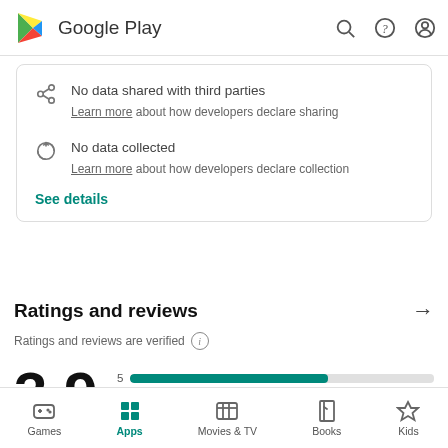[Figure (screenshot): Google Play header with logo, search, help, and account icons]
No data shared with third parties
Learn more about how developers declare sharing
No data collected
Learn more about how developers declare collection
See details
Ratings and reviews
Ratings and reviews are verified
[Figure (bar-chart): Ratings distribution]
3.9
[Figure (screenshot): Bottom navigation bar with Games, Apps (active), Movies & TV, Books, Kids]